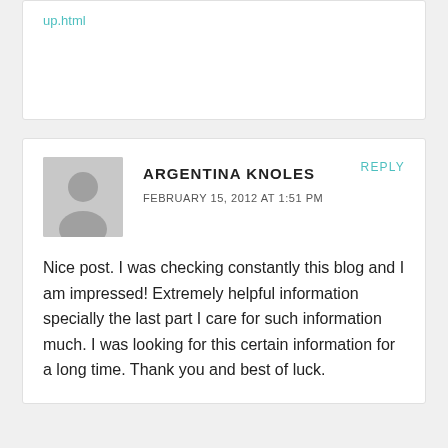up.html
ARGENTINA KNOLES
FEBRUARY 15, 2012 AT 1:51 PM
REPLY
Nice post. I was checking constantly this blog and I am impressed! Extremely helpful information specially the last part I care for such information much. I was looking for this certain information for a long time. Thank you and best of luck.